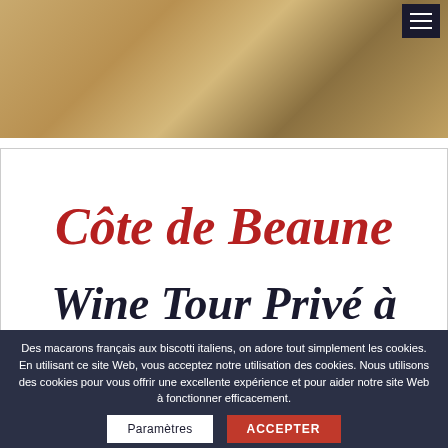[Figure (photo): Close-up photo of wine-related items with golden/amber tones, partially cropped. A menu hamburger icon is visible in the top right corner on a dark background.]
Côte de Beaune
Wine Tour Privé à
Des macarons français aux biscotti italiens, on adore tout simplement les cookies. En utilisant ce site Web, vous acceptez notre utilisation des cookies. Nous utilisons des cookies pour vous offrir une excellente expérience et pour aider notre site Web à fonctionner efficacement.
Paramètres
ACCEPTER